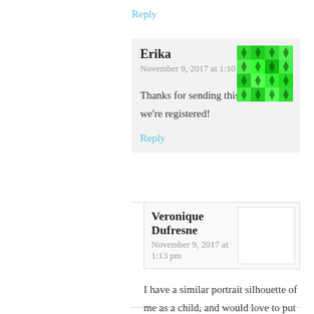Reply
Erika
November 9, 2017 at 1:10 pm
[Figure (illustration): Green pixel/mosaic avatar image for user Erika]
Thanks for sending this out- we're registered!
Reply
Veronique Dufresne
November 9, 2017 at 1:13 pm
I have a similar portrait silhouette of me as a child, and would love to put it on the wall alongside my daughter's!
Reply